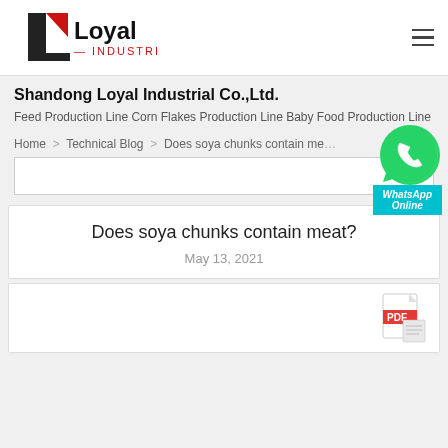[Figure (logo): Loyal Industrial company logo with black L shape and red triangle, text reads Loyal INDUSTRIAL]
Shandong Loyal Industrial Co.,Ltd.
Feed Production Line Corn Flakes Production Line Baby Food Production Line
Home > Technical Blog > Does soya chunks contain meat
Does soya chunks contain meat?
May 13, 2021
[Figure (illustration): PDF icon in bottom right of content card]